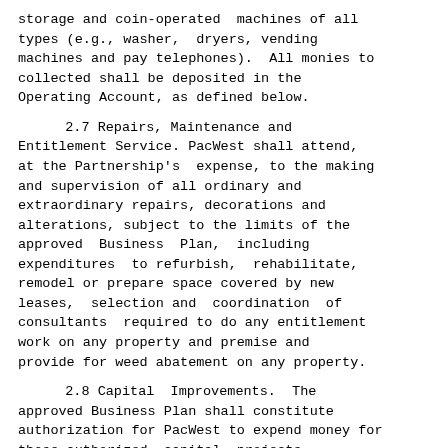storage and coin-operated  machines of all types (e.g., washer,  dryers, vending machines and pay telephones).  All monies to collected shall be deposited in the Operating Account, as defined below.
2.7 Repairs, Maintenance and Entitlement Service. PacWest shall attend, at the Partnership's  expense, to the making and supervision of all ordinary and extraordinary repairs, decorations and alterations, subject to the limits of the approved  Business  Plan,  including expenditures  to refurbish,  rehabilitate, remodel or prepare space covered by new leases,  selection and  coordination  of consultants  required to do any entitlement work on any property and premise and provide for weed abatement on any property.
2.8 Capital  Improvements.  The approved Business Plan shall constitute authorization for PacWest to expend money for those authorized  capital  projects described in such Business Plan. PacWest shall submit to the Partnership as part